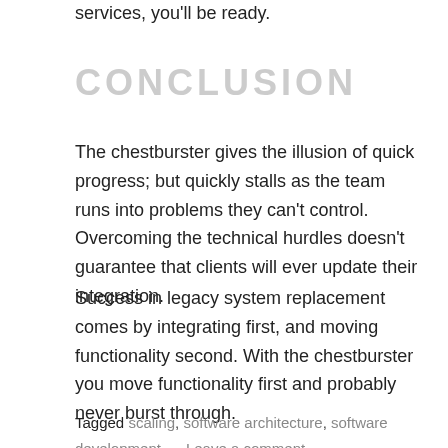services, you'll be ready.
CONCLUSION
The chestburster gives the illusion of quick progress; but quickly stalls as the team runs into problems they can't control.  Overcoming the technical hurdles doesn't guarantee that clients will ever update their integration.
Success in legacy system replacement comes by integrating first, and moving functionality second. With the chestburster you move functionality first and probably never burst through.
Tagged scaling, software architecture, software development Leave a comment